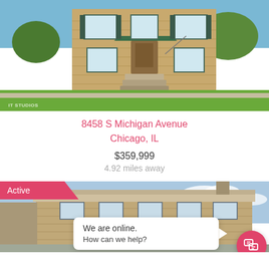[Figure (photo): Exterior photo of a two-story brick residential building at 8458 S Michigan Avenue, Chicago. Green lawn in foreground, blue sky. Watermark reads IT STUDIOS in lower left.]
8458 S Michigan Avenue
Chicago, IL
$359,999
4.92 miles away
[Figure (photo): Exterior photo of a second property listing, a brick house with active badge overlay in pink/red reading 'Active'. A chat popup saying 'We are online. How can we help?' appears in the lower portion with a pink chat icon button.]